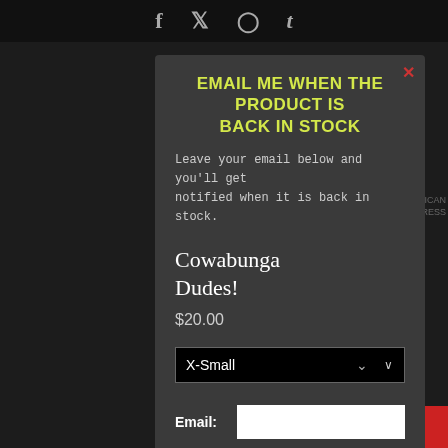f  t  (instagram)  t
EMAIL ME WHEN THE PRODUCT IS BACK IN STOCK
Leave your email below and you'll get notified when it is back in stock.
Cowabunga Dudes!
$20.00
X-Small
Email:
SUBSCRIBE
Contact Us